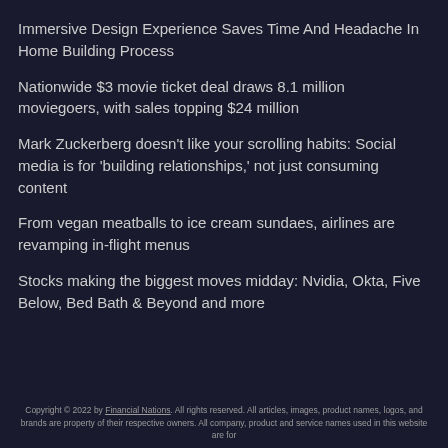Immersive Design Experience Saves Time And Headache In Home Building Process
Nationwide $3 movie ticket deal draws 8.1 million moviegoers, with sales topping $24 million
Mark Zuckerberg doesn’t like your scrolling habits: Social media is for ‘building relationships,’ not just consuming content
From vegan meatballs to ice cream sundaes, airlines are revamping in-flight menus
Stocks making the biggest moves midday: Nvidia, Okta, Five Below, Bed Bath & Beyond and more
Copyright © 2022 by Financial Nations. All rights reserved. All articles, images, product names, logos, and brands are property of their respective owners. All company, product and service names used in this website are for